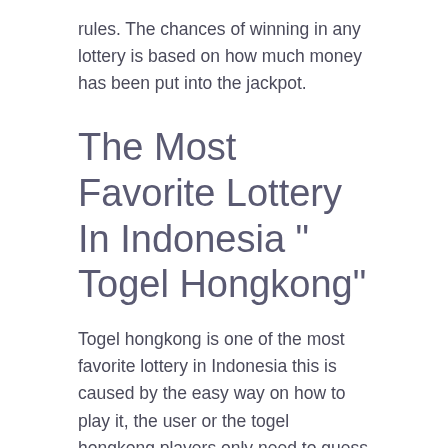rules. The chances of winning in any lottery is based on how much money has been put into the jackpot.
The Most Favorite Lottery In Indonesia “ Togel Hongkong”
Togel hongkong is one of the most favorite lottery in Indonesia this is caused by the easy way on how to play it, the user or the togel hongkong players only need to guess what number will get out tonight or called “pengeluaran hk hari ini” if they guess the number correctly they will get a really big mount of money. the togel hongkong prizes also depending on what games we selected, in togel hongkong there are many type of togel we can choose like: togel hongkong 4D, Togel hongkong 3D, Togel hongkong 2D, And The last one is